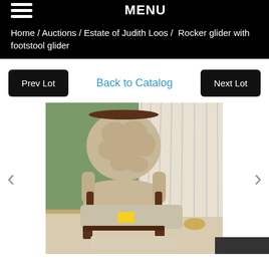MENU
Home / Auctions / Estate of Judith Loos / Rocker glider with footstool glider
Prev Lot | Back to Catalog | Next Lot
[Figure (photo): Photo of a beige upholstered rocker glider chair with matching footstool glider, dark wood arms, in a room with green walls and white curtains, with a yellow price tag on the footstool.]